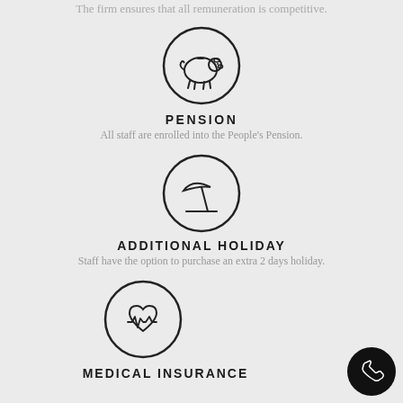The firm ensures that all remuneration is competitive.
[Figure (illustration): Circle icon with a piggy bank silhouette inside]
PENSION
All staff are enrolled into the People's Pension.
[Figure (illustration): Circle icon with a beach umbrella and line (holiday) inside]
ADDITIONAL HOLIDAY
Staff have the option to purchase an extra 2 days holiday.
[Figure (illustration): Circle icon with a heart and heartbeat line (medical) inside]
MEDICAL INSURANCE
[Figure (illustration): Black circular phone button in bottom right corner]